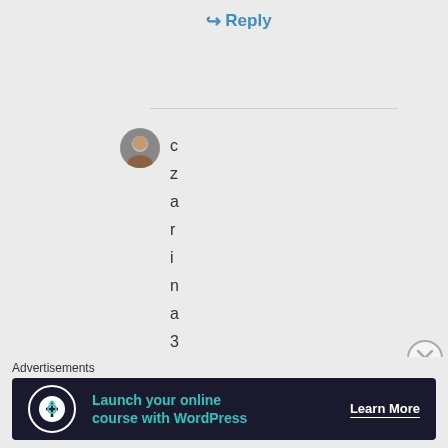↪ Reply
[Figure (photo): Small circular avatar photo of a person]
czarina33onM
Advertisements
[Figure (infographic): Advertisement banner: Launch your online course with WordPress — Learn More]